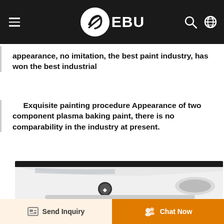EBU
appearance, no imitation, the best paint industry, has won the best industrial
Exquisite painting procedure Appearance of two component plasma baking paint, there is no comparability in the industry at present.
[Figure (photo): Close-up photo of the front of a white car showing the hood, grille, badge, and headlight.]
Send Inquiry | Chat Now